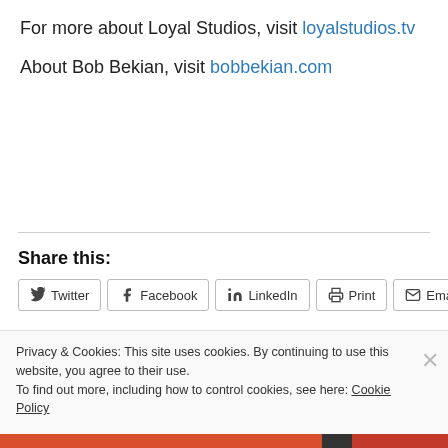For more about Loyal Studios, visit loyalstudios.tv
About Bob Bekian, visit bobbekian.com
Share this:
Twitter  Facebook  LinkedIn  Print  Email
Privacy & Cookies: This site uses cookies. By continuing to use this website, you agree to their use.
To find out more, including how to control cookies, see here: Cookie Policy
Close and accept